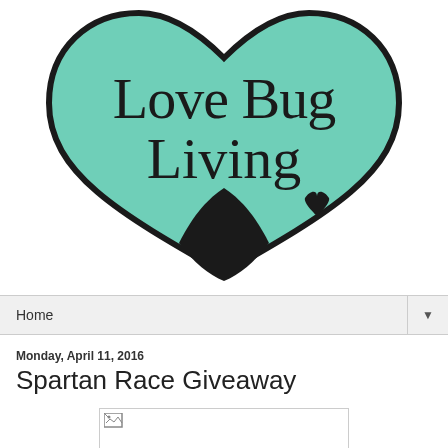[Figure (logo): Love Bug Living logo — teal/mint colored double-heart shape with black outline, text 'Love Bug Living' in casual handwritten font, small black heart detail at bottom right]
Home ▼
Monday, April 11, 2016
Spartan Race Giveaway
[Figure (photo): Image placeholder with broken image icon in top-left corner]